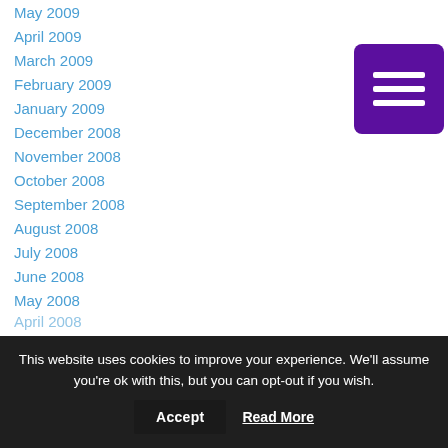May 2009
April 2009
March 2009
February 2009
January 2009
December 2008
November 2008
October 2008
September 2008
August 2008
July 2008
June 2008
May 2008
April 2008
[Figure (other): Purple hamburger menu button with three white horizontal lines]
This website uses cookies to improve your experience. We'll assume you're ok with this, but you can opt-out if you wish. Accept Read More